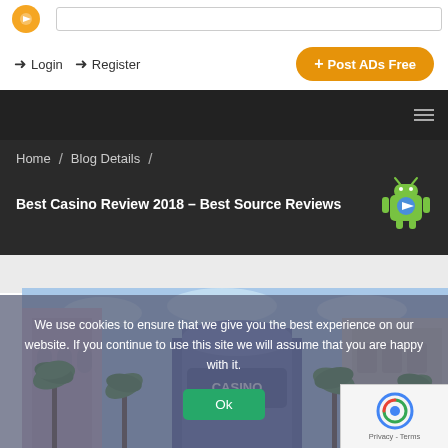[Figure (screenshot): Website header with logo, search bar, Login, Register buttons and orange Post ADs Free button]
Home / Blog Details /
Best Casino Review 2018 – Best Source Reviews
[Figure (photo): Casino buildings street view with palm trees and blue sky]
We use cookies to ensure that we give you the best experience on our website. If you continue to use this site we will assume that you are happy with it.